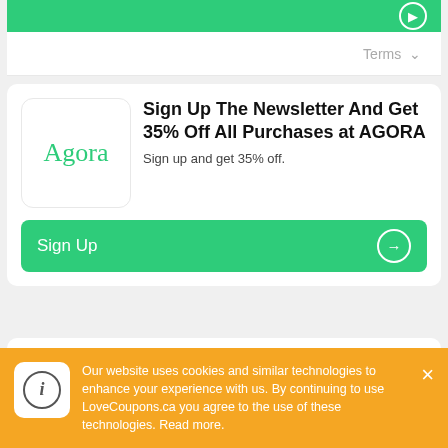[Figure (screenshot): Green top bar with arrow circle icon on right]
Terms ∨
Sign Up The Newsletter And Get 35% Off All Purchases at AGORA
Sign up and get 35% off.
Sign Up →
Body Care For $89 at
Our website uses cookies and similar technologies to enhance your experience with us. By continuing to use LoveCoupons.ca you agree to the use of these technologies. Read more.